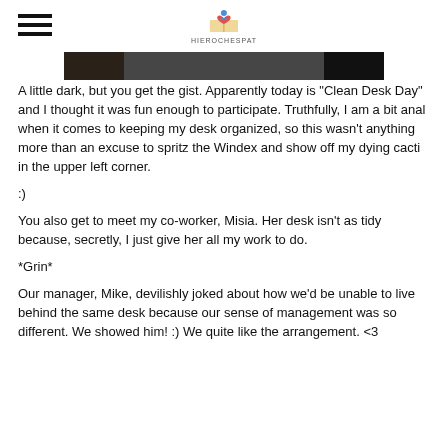HIEROCHESPAT (logo)
[Figure (photo): Dark photo of a clean desk, partially visible at the top of the content area]
A little dark, but you get the gist.  Apparently today is "Clean Desk Day" and I thought it was fun enough to participate.  Truthfully, I am a bit anal when it comes to keeping my desk organized, so this wasn't anything more than an excuse to spritz the Windex and show off my dying cacti in the upper left corner.
:)
You also get to meet my co-worker, Misia.  Her desk isn't as tidy because, secretly, I just give her all my work to do.
*Grin*
Our manager, Mike, devilishly joked about how we'd be unable to live behind the same desk because our sense of management was so different.  We showed him!  :)  We quite like the arrangement.  <3